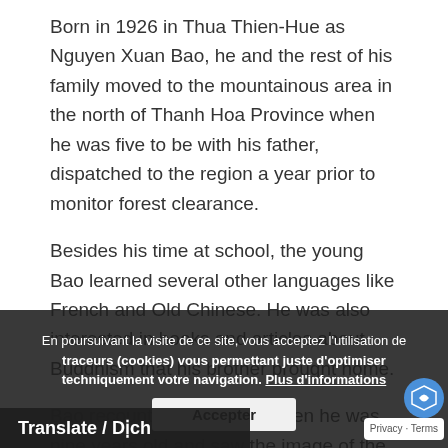Born in 1926 in Thua Thien-Hue as Nguyen Xuan Bao, he and the rest of his family moved to the mountainous area in the north of Thanh Hoa Province when he was five to be with his father, dispatched to the region a year prior to monitor forest clearance.
Besides his time at school, the young Bao learned several other languages like French and Old Chinese. He was also interested in books and articles about Buddhism that his brother brought home.
Bao recounted a moment when he was nine years old and saw the image of the Buddha on the cover of a magazine.
The Buddha's image of serenity and tranquility was a stark contrast to the pain and inequality people had to face at the time, when the country was still under French dominance. It left a lasting impression on him and made him realize his wish to help others experience that s...
En poursuivant la visite de ce site, vous acceptez l'utilisation de traceurs (cookies) vous permettant juste d'optimiser techniquement votre navigation. Plus d'informations
Accepter
Translate / Dịch